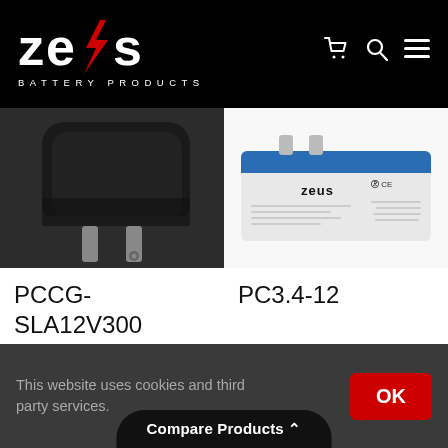[Figure (logo): Zeus Battery Products logo — white bold text 'zeus' with red lightning bolt replacing 'u', subtitle 'Battery Products' in white spaced letters, on black background. Cart, search, and hamburger menu icons top right.]
[Figure (photo): Close-up photo of a black wall plug-in charger/adapter with two metal prongs, on dark background. Product: PCCG-SLA12V300]
PCCG-SLA12V300
[Figure (photo): Photo of a white lead-acid battery with blue top cover and two small terminals. Zeus brand logo and certification marks visible on label. Product: PC3.4-12]
PC3.4-12
This website uses cookies and third party services.
OK
Compare Products